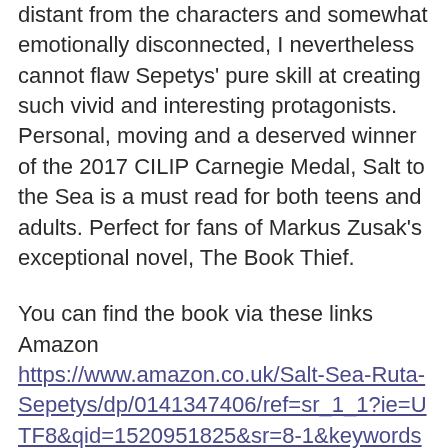distant from the characters and somewhat emotionally disconnected, I nevertheless cannot flaw Sepetys' pure skill at creating such vivid and interesting protagonists. Personal, moving and a deserved winner of the 2017 CILIP Carnegie Medal, Salt to the Sea is a must read for both teens and adults. Perfect for fans of Markus Zusak's exceptional novel, The Book Thief.
You can find the book via these links
Amazon
https://www.amazon.co.uk/Salt-Sea-Ruta-Sepetys/dp/0141347406/ref=sr_1_1?ie=UTF8&qid=1520951825&sr=8-1&keywords=salt+to+the+sea+by+ruta+